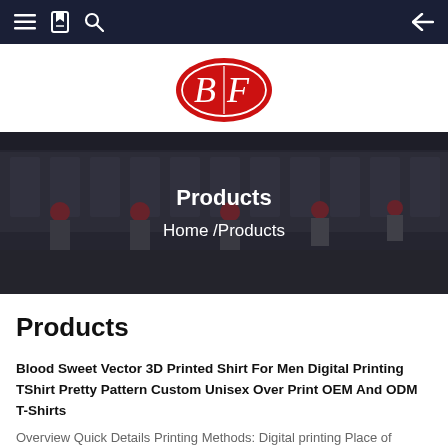Navigation bar with menu, bookmark, search icons and back arrow
[Figure (logo): BF logo — red oval with white cursive BF letters and white oval border]
[Figure (photo): Factory floor with workers in red hats at sewing/knitting machines, overlaid with hero text 'Products' and breadcrumb 'Home /Products']
Products
Blood Sweet Vector 3D Printed Shirt For Men Digital Printing TShirt Pretty Pattern Custom Unisex Over Print OEM And ODM T-Shirts
Overview Quick Details Printing Methods: Digital printing Place of Origin: